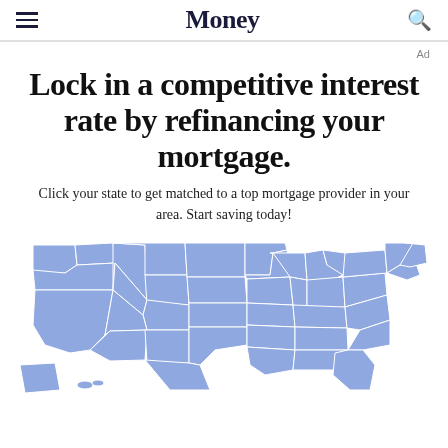Money
Ad
Lock in a competitive interest rate by refinancing your mortgage.
Click your state to get matched to a top mortgage provider in your area. Start saving today!
[Figure (map): Interactive map of the United States with states shaded in light blue/periwinkle, allowing users to click their state to find mortgage providers]